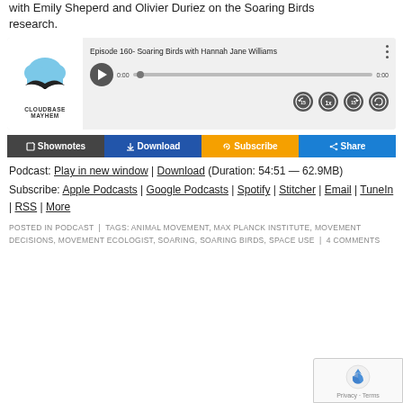with Emily Sheperd and Olivier Duriez on the Soaring Birds research.
[Figure (screenshot): Cloudbase Mayhem podcast player widget for Episode 160 - Soaring Birds with Hannah Jane Williams, showing play controls, progress bar, skip buttons, and action buttons for Shownotes, Download, Subscribe, Share]
Podcast: Play in new window | Download (Duration: 54:51 — 62.9MB)
Subscribe: Apple Podcasts | Google Podcasts | Spotify | Stitcher | Email | TuneIn | RSS | More
POSTED IN PODCAST | TAGS: ANIMAL MOVEMENT, MAX PLANCK INSTITUTE, MOVEMENT DECISIONS, MOVEMENT ECOLOGIST, SOARING, SOARING BIRDS, SPACE USE | 4 COMMENTS